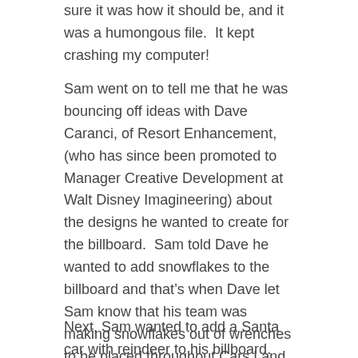sure it was how it should be, and it was a humongous file.  It kept crashing my computer!
Sam went on to tell me that he was bouncing off ideas with Dave Caranci, of Resort Enhancement, (who has since been promoted to Manager Creative Development at Walt Disney Imagineering) about the designs he wanted to create for the billboard.  Sam told Dave he wanted to add snowflakes to the billboard and that’s when Dave let Sam know that his team was making snowflakes out of wrenches to be placed throughout Cars Land, which gave Sam the idea for the snowflake wrenches that he would then add to his billboard design.
Next, Sam wanted to add a Santa car with reindeer to his billboard.  He’d need to receive Pixar approval again, and that’s when he recounted an exciting